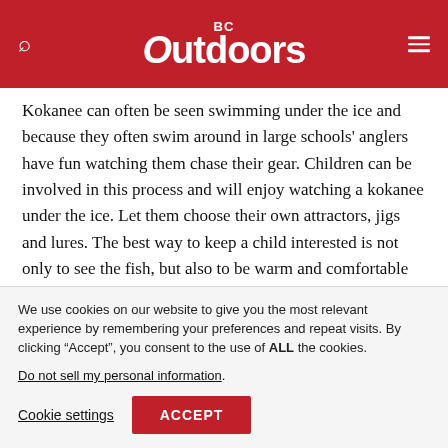BC Outdoors
Kokanee can often be seen swimming under the ice and because they often swim around in large schools' anglers have fun watching them chase their gear. Children can be involved in this process and will enjoy watching a kokanee under the ice. Let them choose their own attractors, jigs and lures. The best way to keep a child interested is not only to see the fish, but also to be warm and comfortable inside a tent. A tent heater helps, along with warm, dry boots and clothes. Hot
We use cookies on our website to give you the most relevant experience by remembering your preferences and repeat visits. By clicking “Accept”, you consent to the use of ALL the cookies.
Do not sell my personal information.
Cookie settings   ACCEPT